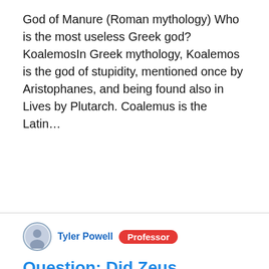God of Manure (Roman mythology) Who is the most useless Greek god? KoalemosIn Greek mythology, Koalemos is the god of stupidity, mentioned once by Aristophanes, and being found also in Lives by Plutarch. Coalemus is the Latin…
Tyler Powell  Professor
Question: Did Zeus Impregnate Animals ?
What God did Zeus kill? AresAres was the god of war, the son of Zeus, and the brother of Athena....AresStatus:Deceased (Killed by Zeus)Gender:MaleRace:OlympianRank:God of War3 more rows. Who married Zeus? HeraIn most traditions, he is married to Hera, by whom he is usually said to have fathered Ares, Hebe, and Hephaestus. At